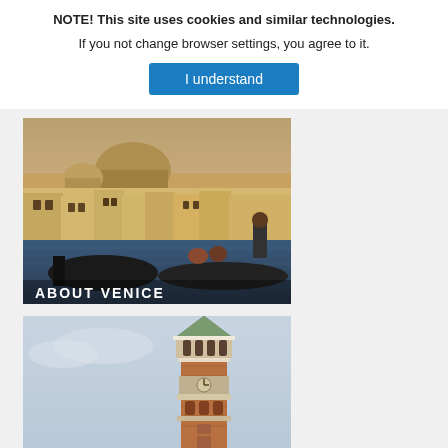NOTE! This site uses cookies and similar technologies. If you not change browser settings, you agree to it.
I understand
[Figure (photo): Venice canal scene with gondolas and historic buildings including domed church in background. Text overlay reads ABOUT VENICE.]
[Figure (photo): Bell tower (Campanile di San Marco) against a light blue sky.]